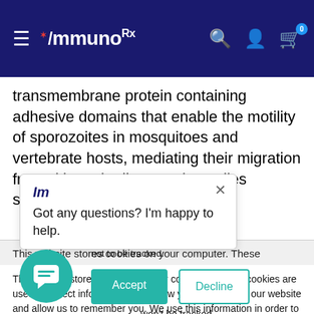ImmunorX — navigation header with hamburger menu, logo, search, account, and cart icons
transmembrane protein containing adhesive domains that enable the motility of sporozoites in mosquitoes and vertebrate hosts, mediating their migration from skin to the liver. Early studies showed that sera from
This website stores cookies on your computer. These
This website stores cookies on your computer. These cookies are used to collect information about how you interact with our website and allow us to remember you. We use this information in order to improve and customize your browsing experience and for analytics and metrics about our visitors both on this website and about the cookies we use, see our won't be tracked single cookie will be per your preference not to be tracked.
Got any questions? I'm happy to help.
Accept
Decline